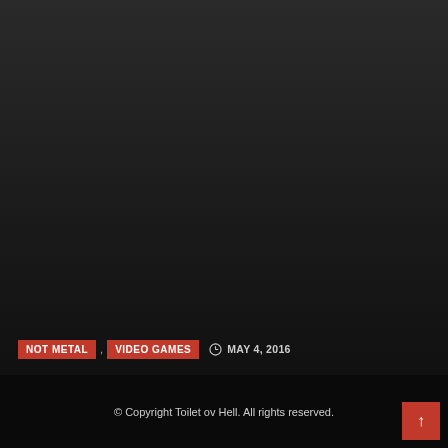[Figure (screenshot): Dark gradient background area representing a website card/article thumbnail]
NOT METAL , VIDEO GAMES ⊙ MAY 4, 2016
A E S T H E T I C S WITH BLANK BANSHEE, THE SIMPSONS, ...
© Copyright Toilet ov Hell. All rights reserved.